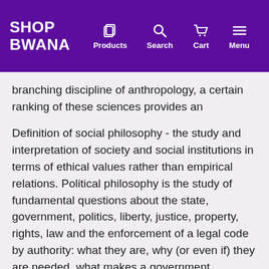SHOP BWANA — Products | Search | Cart | Menu
branching discipline of anthropology, a certain ranking of these sciences provides an
Definition of social philosophy - the study and interpretation of society and social institutions in terms of ethical values rather than empirical relations. Political philosophy is the study of fundamental questions about the state, government, politics, liberty, justice, property, rights, law and the enforcement of a legal code by authority: what they are, why (or even if) they are needed, what makes a government legitimate, what rights and freedoms it should protect.